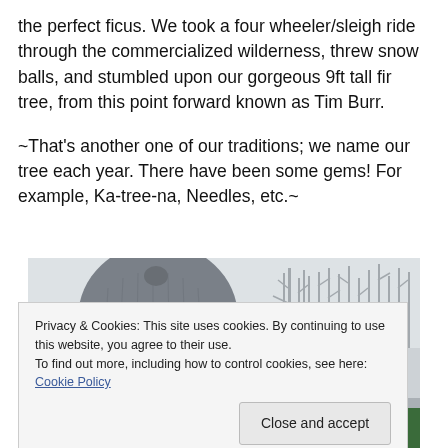the perfect ficus. We took a four wheeler/sleigh ride through the commercialized wilderness, threw snow balls, and stumbled upon our gorgeous 9ft tall fir tree, from this point forward known as Tim Burr.
~That's another one of our traditions; we name our tree each year. There have been some gems! For example, Ka-tree-na, Needles, etc.~
[Figure (photo): A winter outdoor scene showing a person in a grey knit hat against a snowy treeline background, with another person in a green jacket partially visible at the bottom.]
Privacy & Cookies: This site uses cookies. By continuing to use this website, you agree to their use.
To find out more, including how to control cookies, see here: Cookie Policy